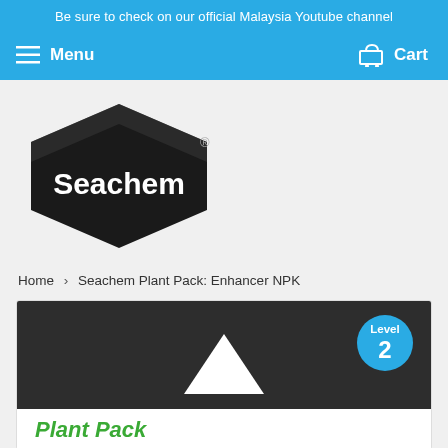Be sure to check on our official Malaysia Youtube channel
Menu   Cart
[Figure (logo): Seachem logo — black diamond/hexagon shape with 'Seachem' in white bold text and registered trademark symbol]
Home > Seachem Plant Pack: Enhancer NPK
[Figure (photo): Seachem Plant Pack product packaging on dark background with white upward-pointing arrow and Level 2 blue circular badge]
Plant Pack